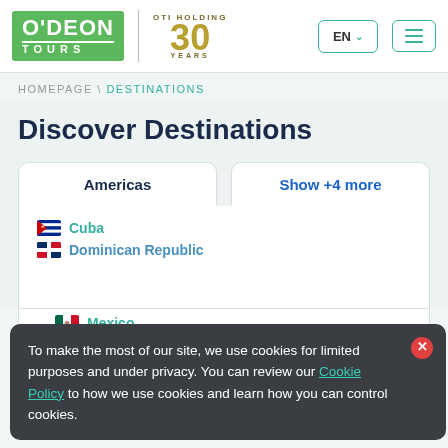[Figure (logo): Odeon Tours logo with OTI Holding 30 Years emblem, language selector (EN), and menu button]
HOMEPAGE \ DESTINATIONS
Discover Destinations
Americas
Show +4 more
Cuba
Dominican Republic
Mexico
To make the most of our site, we use cookies for limited purposes and under privacy. You can review our Cookie Policy to how we use cookies and learn how you can control cookies.